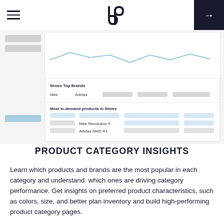navigation header with hamburger menu, logo, and arrow button
[Figure (screenshot): Dashboard screenshot showing Shoes Top Brands (Nike, Adidas) and Most in-demand products in Shoes (Nike Revolution 5, Adidas NMD R1) with line chart and data rows]
PRODUCT CATEGORY INSIGHTS
Learn which products and brands are the most popular in each category and understand which ones are driving category performance. Get insights on preferred product characteristics, such as colors, size, and better plan inventory and build high-performing product category pages.